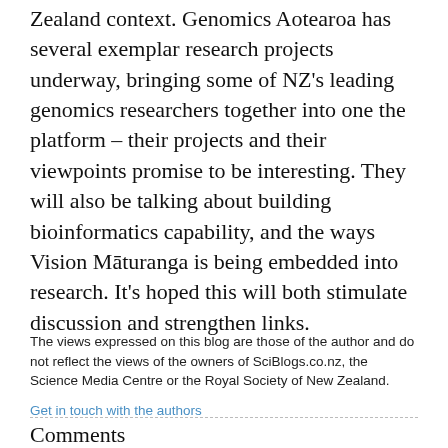Zealand context. Genomics Aotearoa has several exemplar research projects underway, bringing some of NZ's leading genomics researchers together into one the platform – their projects and their viewpoints promise to be interesting. They will also be talking about building bioinformatics capability, and the ways Vision Mātauranga is being embedded into research. It's hoped this will both stimulate discussion and strengthen links.
The views expressed on this blog are those of the author and do not reflect the views of the owners of SciBlogs.co.nz, the Science Media Centre or the Royal Society of New Zealand.
Get in touch with the authors
Comments